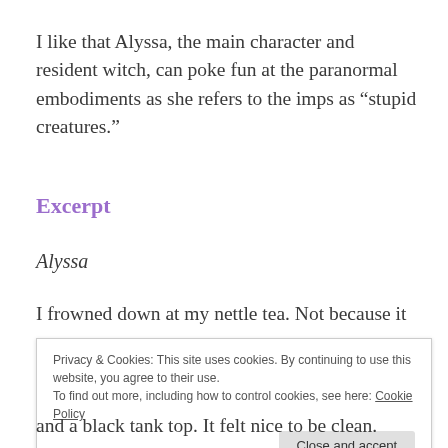I like that Alyssa, the main character and resident witch, can poke fun at the paranormal embodiments as she refers to the imps as “stupid creatures.”
Excerpt
Alyssa
I frowned down at my nettle tea. Not because it
Privacy & Cookies: This site uses cookies. By continuing to use this website, you agree to their use.
To find out more, including how to control cookies, see here: Cookie Policy
and a black tank top. It felt nice to be clean.